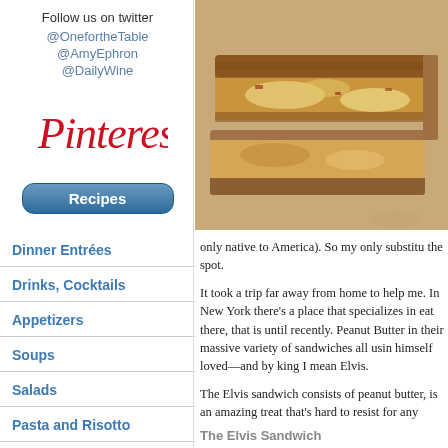Follow us on twitter
@OnefortheTable
@AmyEphron
@DailyWine
[Figure (logo): Pinterest cursive logo in red]
Recipes
Dinner Entrées
Drinks, Cocktails
Appetizers
Soups
Salads
Pasta and Risotto
[Figure (photo): A grilled sandwich (Elvis sandwich) with peanut butter filling cut diagonally on brown paper]
only native to America). So my only substitu the spot.
It took a trip far away from home to help me. In New York there's a place that specializes in eat there, that is until recently. Peanut Butter in their massive variety of sandwiches all usin himself loved—and by king I mean Elvis.
The Elvis sandwich consists of peanut butter, is an amazing treat that's hard to resist for any
The Elvis Sandwich